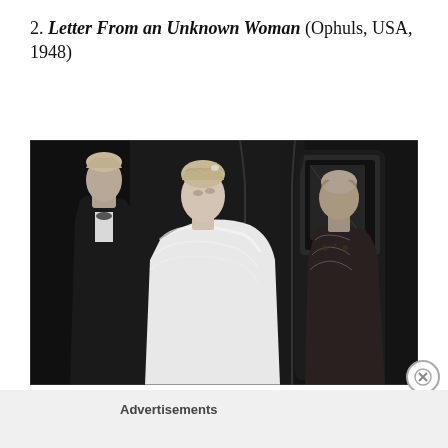2. Letter From an Unknown Woman (Ophuls, USA, 1948)
[Figure (photo): Black and white film still from Letter From an Unknown Woman (1948). Three figures: a young man in a tuxedo on the left looking towards the center, a woman in a white fur wrap with elaborate hair in the center looking upward, and an older man in an ornate coat on the right standing near a dark carriage door.]
Advertisements